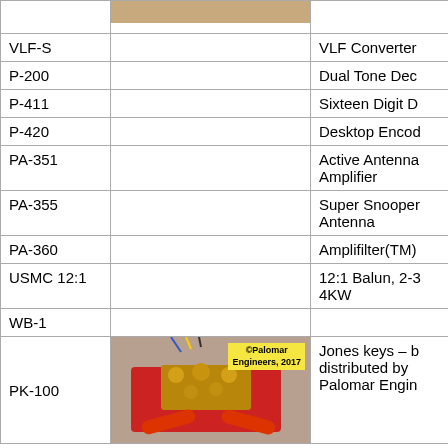| Model | Image | Description |
| --- | --- | --- |
|  | [image] |  |
| VLF-S |  | VLF Converter |
| P-200 |  | Dual Tone Dec |
| P-411 |  | Sixteen Digit D |
| P-420 |  | Desktop Encod |
| PA-351 |  | Active Antenna Amplifier |
| PA-355 |  | Super Snooper Antenna |
| PA-360 |  | Amplifilter(TM) |
| USMC 12:1 |  | 12:1 Balun, 2-3 4KW |
| WB-1 |  |  |
| PK-100 | [image: Jones keys - distributed by Palomar Engineers, 2017] | Jones keys – b distributed by Palomar Engin |